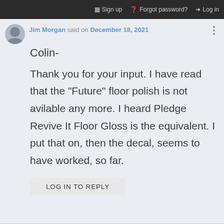Sign up   Forgot password?   Log in
Jim Morgan said on December 18, 2021
Colin-
Thank you for your input. I have read that the "Future" floor polish is not avilable any more. I heard Pledge Revive It Floor Gloss is the equivalent. I put that on, then the decal, seems to have worked, so far.
LOG IN TO REPLY